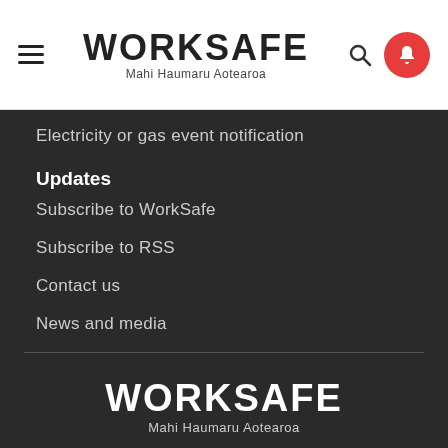[Figure (logo): WorkSafe logo with hamburger menu, search icon, and red bell notification circle in header]
Electricity or gas event notification
Updates
Subscribe to WorkSafe
Subscribe to RSS
Contact us
News and media
[Figure (logo): WorkSafe footer logo - WORKSAFE / Mahi Haumaru Aotearoa in white on dark background]
New Zealand Government